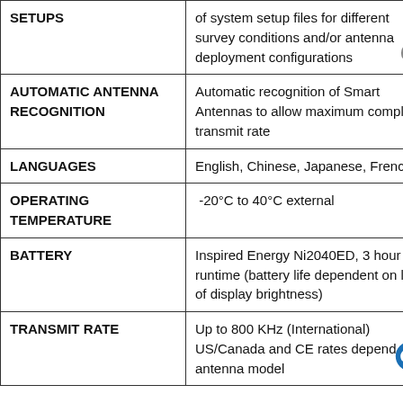| Feature | Description |
| --- | --- |
| SETUPS | of system setup files for different survey conditions and/or antenna deployment configurations |
| AUTOMATIC ANTENNA RECOGNITION | Automatic recognition of Smart Antennas to allow maximum compliant transmit rate |
| LANGUAGES | English, Chinese, Japanese, French |
| OPERATING TEMPERATURE | -20°C to 40°C external |
| BATTERY | Inspired Energy Ni2040ED, 3 hour runtime (battery life dependent on level of display brightness) |
| TRANSMIT RATE | Up to 800 KHz (International) US/Canada and CE rates depend on antenna model |